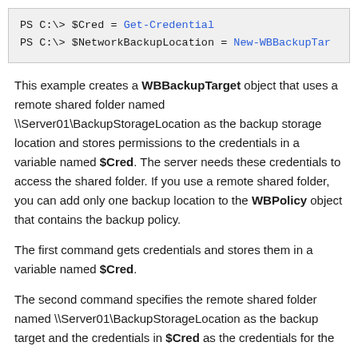[Figure (screenshot): Code block showing two PowerShell commands: PS C:\> $Cred = Get-Credential and PS C:\> $NetworkBackupLocation = New-WBBackupTar...]
This example creates a WBBackupTarget object that uses a remote shared folder named \\Server01\BackupStorageLocation as the backup storage location and stores permissions to the credentials in a variable named $Cred. The server needs these credentials to access the shared folder. If you use a remote shared folder, you can add only one backup location to the WBPolicy object that contains the backup policy.
The first command gets credentials and stores them in a variable named $Cred.
The second command specifies the remote shared folder named \\Server01\BackupStorageLocation as the backup target and the credentials in $Cred as the credentials for the